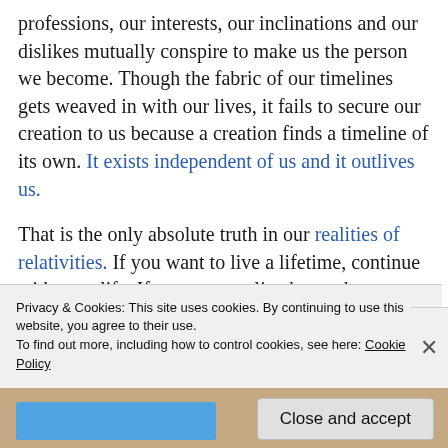professions, our interests, our inclinations and our dislikes mutually conspire to make us the person we become. Though the fabric of our timelines gets weaved in with our lives, it fails to secure our creation to us because a creation finds a timeline of its own. It exists independent of us and it outlives us.
That is the only absolute truth in our realities of relativities. If you want to live a lifetime, continue with your life. If you want to live beyond your lifetime, create something worthwhile. When you create something, you
Privacy & Cookies: This site uses cookies. By continuing to use this website, you agree to their use.
To find out more, including how to control cookies, see here: Cookie Policy
Close and accept